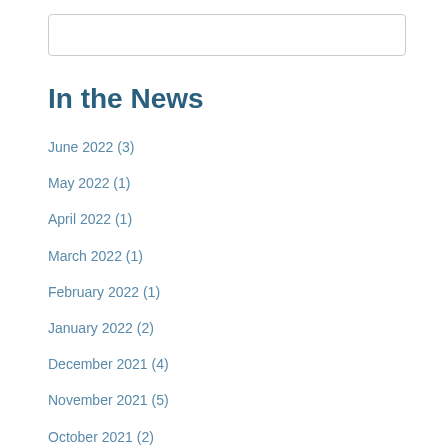[Figure (other): Search input box (empty text field with border)]
In the News
June 2022 (3)
May 2022 (1)
April 2022 (1)
March 2022 (1)
February 2022 (1)
January 2022 (2)
December 2021 (4)
November 2021 (5)
October 2021 (2)
September 2021 (4)
August 2021 (3)